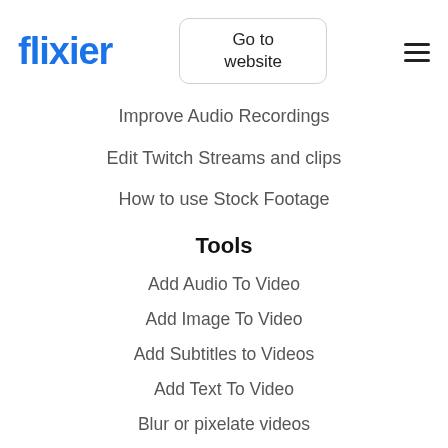flixier
Improve Audio Recordings
Edit Twitch Streams and clips
How to use Stock Footage
Tools
Add Audio To Video
Add Image To Video
Add Subtitles to Videos
Add Text To Video
Blur or pixelate videos
Collaborate On Videos